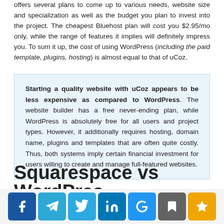offers several plans to come up to various needs, website size and specialization as well as the budget you plan to invest into the project. The cheapest Bluehost plan will cost you $2.95/mo only, while the range of features it implies will definitely impress you. To sum it up, the cost of using WordPress (including the paid template, plugins, hosting) is almost equal to that of uCoz.
Starting a quality website with uCoz appears to be less expensive as compared to WordPress. The website builder has a free never-ending plan, while WordPress is absolutely free for all users and project types. However, it additionally requires hosting, domain name, plugins and templates that are often quite costly. Thus, both systems imply certain financial investment for users willing to create and manage full-featured websites.
Squarespace vs WordPres...
[Figure (other): Social sharing buttons bar: Facebook, Telegram, Twitter, LinkedIn, Google, Bookmark, Star/Favorite]